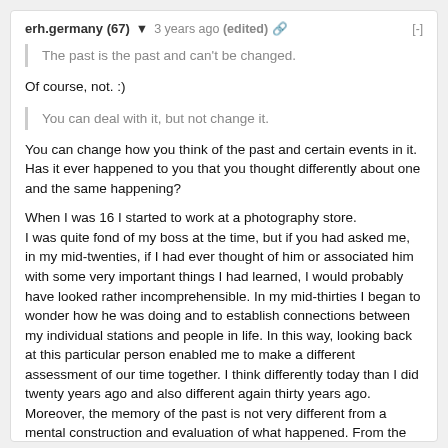erh.germany (67) ▼  3 years ago (edited)  🔗  [-]
The past is the past and can't be changed.
Of course, not. :)
You can deal with it, but not change it.
You can change how you think of the past and certain events in it. Has it ever happened to you that you thought differently about one and the same happening?
When I was 16 I started to work at a photography store.
I was quite fond of my boss at the time, but if you had asked me, in my mid-twenties, if I had ever thought of him or associated him with some very important things I had learned, I would probably have looked rather incomprehensible. In my mid-thirties I began to wonder how he was doing and to establish connections between my individual stations and people in life. In this way, looking back at this particular person enabled me to make a different assessment of our time together. I think differently today than I did twenty years ago and also different again thirty years ago. Moreover, the memory of the past is not very different from a mental construction and evaluation of what happened. From the point of view of every age, the thoughts about certain situations change a lot. Whatever you think about